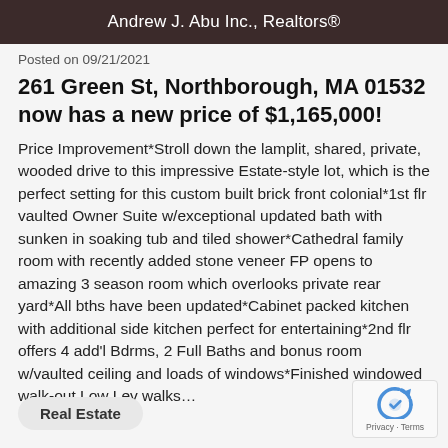Andrew J. Abu Inc., Realtors®
Posted on 09/21/2021
261 Green St, Northborough, MA 01532 now has a new price of $1,165,000!
Price Improvement*Stroll down the lamplit, shared, private, wooded drive to this impressive Estate-style lot, which is the perfect setting for this custom built brick front colonial*1st flr vaulted Owner Suite w/exceptional updated bath with sunken in soaking tub and tiled shower*Cathedral family room with recently added stone veneer FP opens to amazing 3 season room which overlooks private rear yard*All bths have been updated*Cabinet packed kitchen with additional side kitchen perfect for entertaining*2nd flr offers 4 add'l Bdrms, 2 Full Baths and bonus room w/vaulted ceiling and loads of windows*Finished windowed walk-out Low Lev walks...
Real Estate